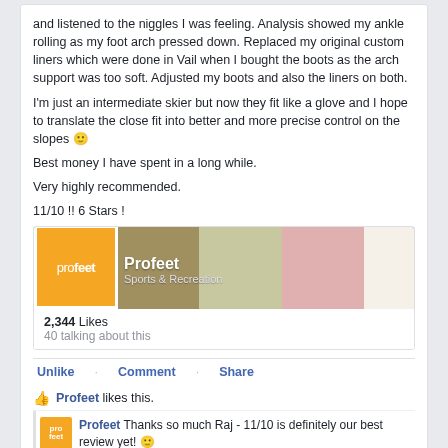and listened to the niggles I was feeling. Analysis showed my ankle rolling as my foot arch pressed down. Replaced my original custom liners which were done in Vail when I bought the boots as the arch support was too soft. Adjusted my boots and also the liners on both.
I'm just an intermediate skier but now they fit like a glove and I hope to translate the close fit into better and more precise control on the slopes 🙂
Best money I have spent in a long while.
Very highly recommended.
11/10 !! 6 Stars !
[Figure (screenshot): Profeet Facebook page card showing banner with sports images, orange logo, page name 'Profeet', category 'Sports & Recreation', 2,344 Likes, 40 talking about this]
Unlike · Comment · Share
Profeet likes this.
Profeet Thanks so much Raj - 11/10 is definitely our best review yet! 🙂 Commented on by Iain Martin [?] · Just now · Like